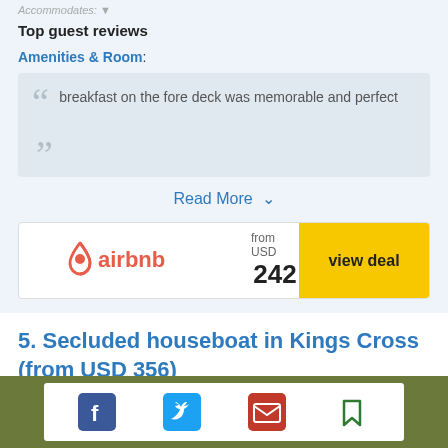Top guest reviews
Amenities & Room:
breakfast on the fore deck was memorable and perfect
Read More ˅
[Figure (logo): Airbnb logo with 'from USD 242' price and 'view deal' yellow button]
5. Secluded houseboat in Kings Cross (from USD 356)
[Figure (infographic): Social sharing bar with Facebook, Twitter, email, and bookmark icons on olive green background]